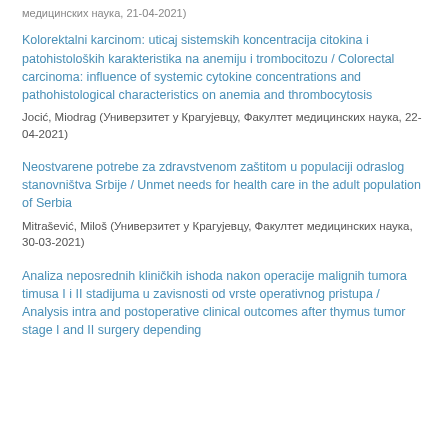медицинских наука, 21-04-2021)
Kolorektalni karcinom: uticaj sistemskih koncentracija citokina i patohistoloških karakteristika na anemiju i trombocitozu / Colorectal carcinoma: influence of systemic cytokine concentrations and pathohistological characteristics on anemia and thrombocytosis
Jocić, Miodrag (Универзитет у Крагујевцу, Факултет медицинских наука, 22-04-2021)
Neostvarene potrebe za zdravstvenom zaštitom u populaciji odraslog stanovništva Srbije / Unmet needs for health care in the adult population of Serbia
Mitrašević, Miloš (Универзитет у Крагујевцу, Факултет медицинских наука, 30-03-2021)
Analiza neposrednih kliničkih ishoda nakon operacije malignih tumora timusa I i II stadijuma u zavisnosti od vrste operativnog pristupa / Analysis intra and postoperative clinical outcomes after thymus tumor stage I and II surgery depending